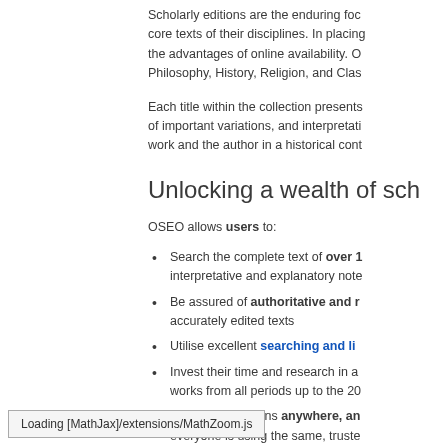Scholarly editions are the enduring focus of the core texts of their disciplines. In placing the advantages of online availability. O Philosophy, History, Religion, and Clas
Each title within the collection presents of important variations, and interpretati work and the author in a historical cont
Unlocking a wealth of sch
OSEO allows users to:
Search the complete text of over 1 interpretative and explanatory note
Be assured of authoritative and r accurately edited texts
Utilise excellent searching and li
Invest their time and research in a works from all periods up to the 20
Access the editions anywhere, an everyone is using the same, truste
All with the hallmark of a
Loading [MathJax]/extensions/MathZoom.js